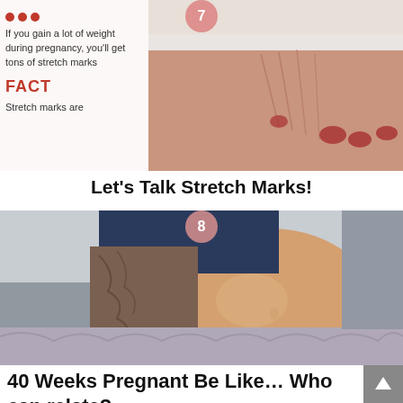[Figure (photo): Close-up photo of a woman's midsection showing stretch marks, with red-painted fingernails touching skin, wearing white undergarment. Number badge '7' at top center. Left overlay text reading myth label and 'If you gain a lot of weight during pregnancy, you'll get tons of stretch marks' followed by 'FACT' and 'Stretch marks are']
Let's Talk Stretch Marks!
[Figure (photo): Photo of a pregnant woman lying down showing large third-trimester belly, wearing dark navy top, with visible tattoo on arm. Number badge '8' at top center.]
40 Weeks Pregnant Be Like… Who can relate?